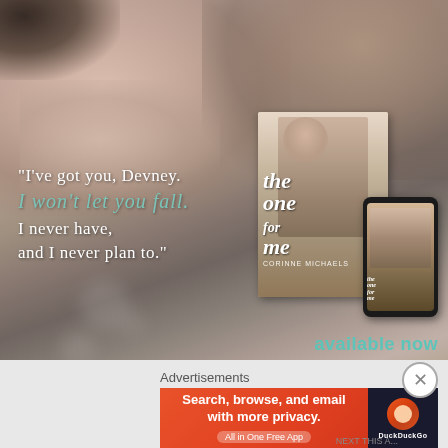[Figure (photo): Book promotion graphic for 'The One for Me' by Corinne Michaels. Background shows a close-up romantic photo of two people (faces close together). Overlaid text reads: '"I've got you, Devney. I won't let you fall. I never have, and I never plan to."' On the right side is the book cover and a phone mockup showing the ebook. Below reads 'available now' with retailer icons. Bottom has an 'Advertisements' label and a DuckDuckGo banner ad.]
"I've got you, Devney. I won't let you fall. I never have, and I never plan to."
available now
Advertisements
[Figure (screenshot): DuckDuckGo advertisement banner. Orange background on left with text 'Search, browse, and email with more privacy. All in One Free App'. Dark right panel with DuckDuckGo duck logo and brand name.]